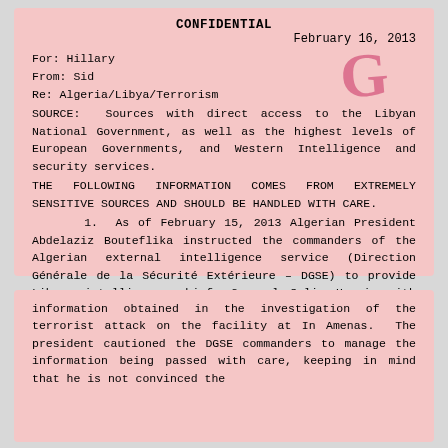CONFIDENTIAL
February 16, 2013
For: Hillary
From: Sid
Re: Algeria/Libya/Terrorism
SOURCE:  Sources with direct access to the Libyan National Government, as well as the highest levels of European Governments, and Western Intelligence and security services.
THE FOLLOWING INFORMATION COMES FROM EXTREMELY SENSITIVE SOURCES AND SHOULD BE HANDLED WITH CARE.
   1.  As of February 15, 2013 Algerian President Abdelaziz Bouteflika instructed the commanders of the Algerian external intelligence service (Direction Générale de la Sécurité Extérieure – DGSE) to provide Libyan intelligence chief, General Salim Hassi, with selected portions of the
information obtained in the investigation of the terrorist attack on the facility at In Amenas.  The president cautioned the DGSE commanders to manage the information being passed with care, keeping in mind that he is not convinced the